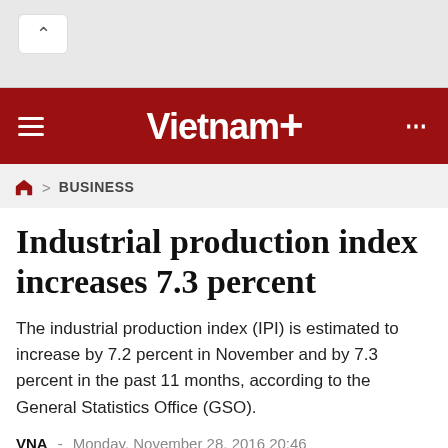VietnamPlus
BUSINESS
Industrial production index increases 7.3 percent
The industrial production index (IPI) is estimated to increase by 7.2 percent in November and by 7.3 percent in the past 11 months, according to the General Statistics Office (GSO).
VNA  -  Monday, November 28, 2016 20:46